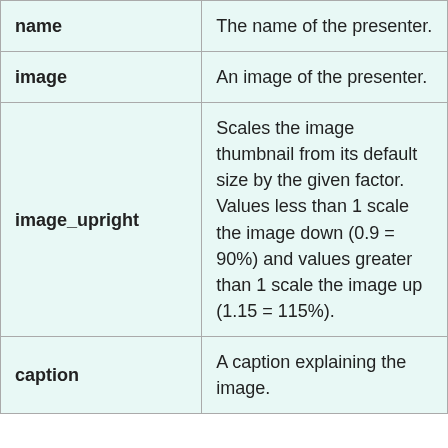| name | The name of the presenter. |
| image | An image of the presenter. |
| image_upright | Scales the image thumbnail from its default size by the given factor. Values less than 1 scale the image down (0.9 = 90%) and values greater than 1 scale the image up (1.15 = 115%). |
| caption | A caption explaining the image. |